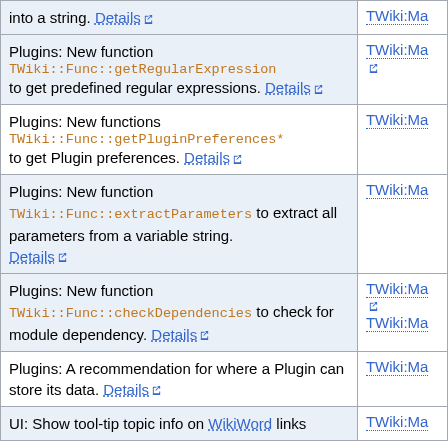| Description | Reference |
| --- | --- |
| into a string. Details ↗ | TWiki:Ma ↗ |
| Plugins: New function
TWiki::Func::getRegularExpression
to get predefined regular expressions. Details ↗ | TWiki:Ma ↗ |
| Plugins: New functions
TWiki::Func::getPluginPreferences*
to get Plugin preferences. Details ↗ | TWiki:Ma |
| Plugins: New function
TWiki::Func::extractParameters to extract all parameters from a variable string.
Details ↗ | TWiki:Ma |
| Plugins: New function
TWiki::Func::checkDependencies to check for module dependency. Details ↗ | TWiki:Ma ↗
TWiki:Ma |
| Plugins: A recommendation for where a Plugin can store its data. Details ↗ | TWiki:Ma |
| UI: Show tool-tip topic info on WikiWord links | TWiki:Ma |